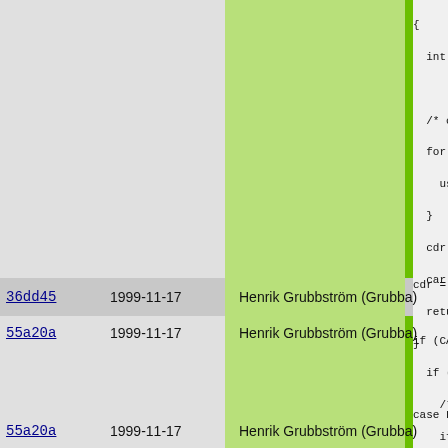[Figure (screenshot): Git blame view showing source code with columns for commit hash, date, author, and code content. Three rows visible with commit hashes 55a20a and 36dd45, dated 1999-11-17, authored by Henrik Grubbström (Grubba). The right side shows C code fragments including variable declarations, for loops, case statements (F_LVA, F_ARR), and control flow.]
55a20a  1999-11-17  Henrik Grubbström (Grubba)
36dd45  1999-11-17  Henrik Grubbström (Grubba)
55a20a  1999-11-17  Henrik Grubbström (Grubba)